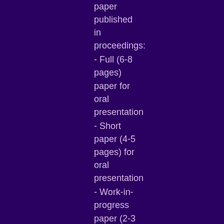paper published in proceedings:
- Full (6-8 pages) paper for oral presentation
- Short paper (4-5 pages) for oral presentation
- Work-in-progress paper (2-3 pages) for poster presentation
- Doctoral colloquium paper (2-3 pages)